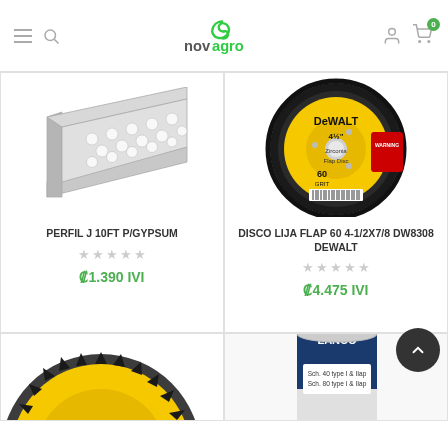novagro - navigation header with hamburger, search, logo, user, cart icons
[Figure (photo): Perforated metal J-profile trim piece for gypsum board, shown in silver/grey]
PERFIL J 10FT P/GYPSUM
₡1.390 IVI
[Figure (photo): DeWalt Zirconia Flap Disc 4-1/2 x 7/8 DW8308, 60 grit, yellow and black packaging]
DISCO LIJA FLAP 60 4-1/2X7/8 DW8308 DEWALT
₡4.475 IVI
[Figure (photo): DeWalt circular saw blade, partially visible at bottom left]
[Figure (photo): LANCO product can, partially visible at bottom right]